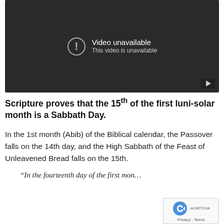[Figure (screenshot): YouTube video embed showing 'Video unavailable – This video is unavailable' error message on a dark background with a play button icon in the bottom right corner.]
Scripture proves that the 15th of the first luni-solar month is a Sabbath Day.
In the 1st month (Abib) of the Biblical calendar, the Passover falls on the 14th day, and the High Sabbath of the Feast of Unleavened Bread falls on the 15th.
“In the fourteenth day of the first mon…